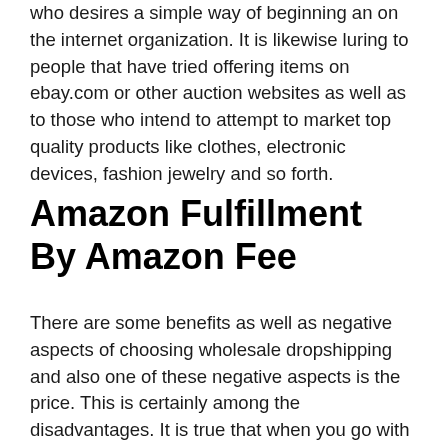who desires a simple way of beginning an on the internet organization. It is likewise luring to people that have tried offering items on ebay.com or other auction websites as well as to those who intend to attempt to market top quality products like clothes, electronic devices, fashion jewelry and so forth.
Amazon Fulfillment By Amazon Fee
There are some benefits as well as negative aspects of choosing wholesale dropshipping and also one of these negative aspects is the price. This is certainly among the disadvantages. It is true that when you go with an Amazon seller account, you will